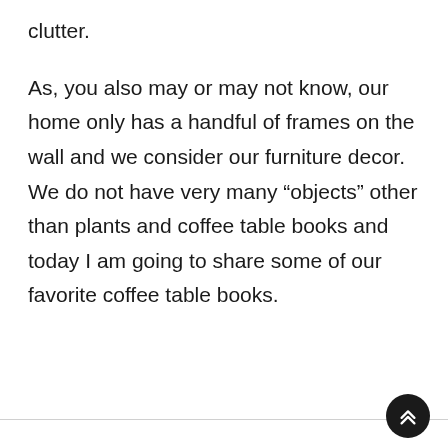clutter.
As, you also may or may not know, our home only has a handful of frames on the wall and we consider our furniture decor. We do not have very many “objects” other than plants and coffee table books and today I am going to share some of our favorite coffee table books.